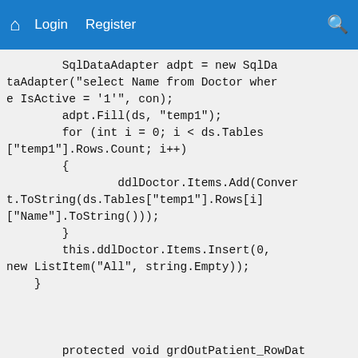🏠 Login Register 🔍
SqlDataAdapter adpt = new SqlDataAdapter("select Name from Doctor where IsActive = '1'", con);
        adpt.Fill(ds, "temp1");
        for (int i = 0; i < ds.Tables["temp1"].Rows.Count; i++)
        {
                ddlDoctor.Items.Add(Convert.ToString(ds.Tables["temp1"].Rows[i]["Name"].ToString()));
        }
        this.ddlDoctor.Items.Insert(0, new ListItem("All", string.Empty));
    }


        protected void grdOutPatient_RowDataBound(object sender, GridViewRowEventA